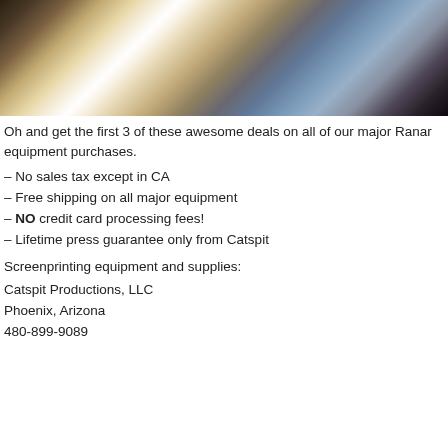[Figure (photo): Photo of a screen printing shop showing a white t-shirt on a table and screen printing frames leaning against a surface in the background.]
Oh and get the first 3 of these awesome deals on all of our major Ranar equipment purchases.
– No sales tax except in CA
– Free shipping on all major equipment
– NO credit card processing fees!
– Lifetime press guarantee only from Catspit
Screenprinting equipment and supplies:
Catspit Productions, LLC
Phoenix, Arizona
480-899-9089